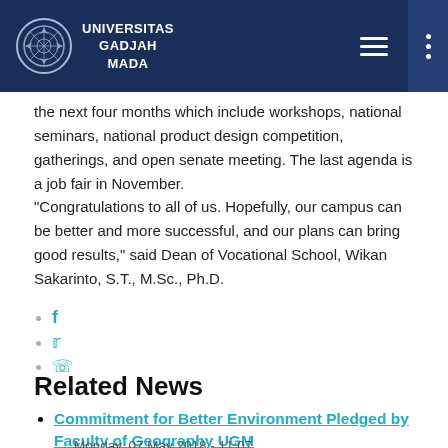UNIVERSITAS GADJAH MADA
the next four months which include workshops, national seminars, national product design competition, gatherings, and open senate meeting. The last agenda is a job fair in November.
"Congratulations to all of us. Hopefully, our campus can be better and more successful, and our plans can bring good results," said Dean of Vocational School, Wikan Sakarinto, S.T., M.Sc., Ph.D.
f (Facebook icon)
Twitter icon
WhatsApp icon
Related News
Commitment for Better Environment Pledged by Faculty of Geography UGM
Monday, 07 May 2018 - 11:07
Director General of Vocational Education...